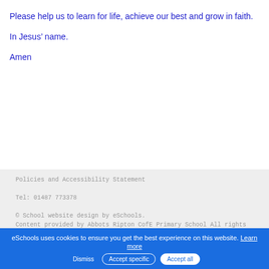Please help us to learn for life, achieve our best and grow in faith.
In Jesus’ name.
Amen
Policies and Accessibility Statement
Tel: 01487 773378
© School website design by eSchools.
Content provided by Abbots Ripton CofE Primary School All rights
eSchools uses cookies to ensure you get the best experience on this website. Learn more
Dismiss | Accept specific | Accept all